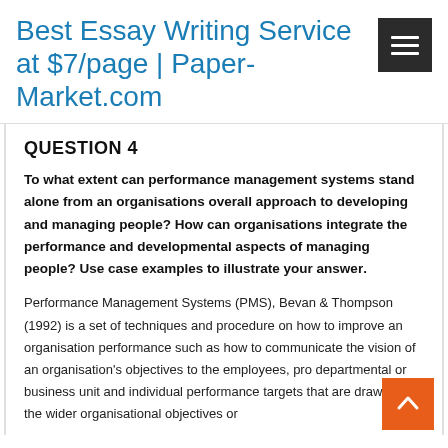Best Essay Writing Service at $7/page | Paper-Market.com
QUESTION 4
To what extent can performance management systems stand alone from an organisations overall approach to developing and managing people? How can organisations integrate the performance and developmental aspects of managing people? Use case examples to illustrate your answer.
Performance Management Systems (PMS), Bevan & Thompson (1992) is a set of techniques and procedure on how to improve an organisation performance such as how to communicate the vision of an organisation's objectives to the employees, pro departmental or business unit and individual performance targets that are drawn from the wider organisational objectives or